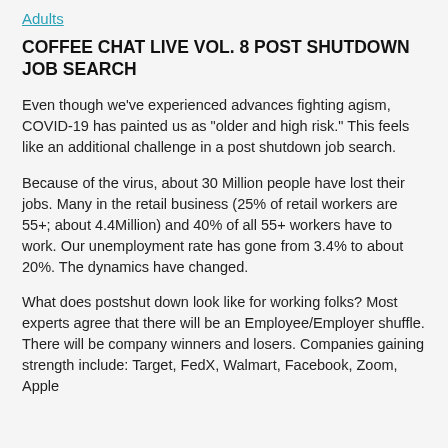Adults
COFFEE CHAT LIVE VOL. 8 POST SHUTDOWN JOB SEARCH
Even though we've experienced advances fighting agism, COVID-19 has painted us as “older and high risk.” This feels like an additional challenge in a post shutdown job search.
Because of the virus, about 30 Million people have lost their jobs. Many in the retail business (25% of retail workers are 55+; about 4.4Million) and 40% of all 55+ workers have to work. Our unemployment rate has gone from 3.4% to about 20%. The dynamics have changed.
What does postshut down look like for working folks? Most experts agree that there will be an Employee/Employer shuffle. There will be company winners and losers. Companies gaining strength include: Target, FedX, Walmart, Facebook, Zoom, Apple